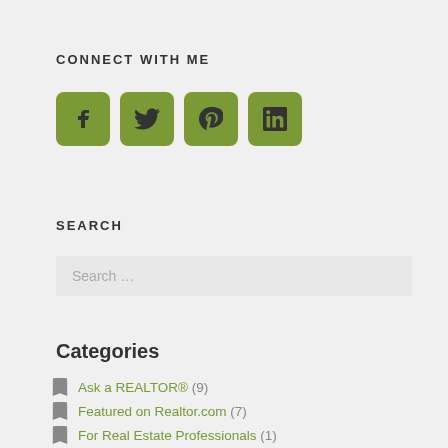CONNECT WITH ME
[Figure (infographic): Four green rounded square social media icons: Facebook (f), Twitter (bird), Pinterest (p), LinkedIn (in)]
SEARCH
Search ...
Categories
Ask a REALTOR® (9)
Featured on Realtor.com (7)
For Real Estate Professionals (1)